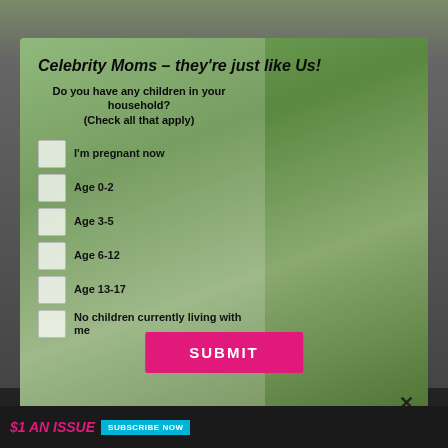[Figure (screenshot): Survey modal popup overlaid on a webpage. Background shows a blurred outdoor/family scene. Modal contains a survey titled 'Celebrity Moms – they're just like Us!' with checkbox options for children age groups, and a pink SUBMIT button.]
Celebrity Moms – they're just like Us!
Do you have any children in your household? (Check all that apply)
I'm pregnant now
Age 0-2
Age 3-5
Age 6-12
Age 13-17
No children currently living with me
SUBMIT
$1 AN ISSUE  SUBSCRIBE NOW